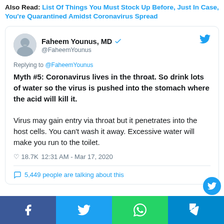Also Read: List Of Things You Must Stock Up Before, Just In Case, You're Quarantined Amidst Coronavirus Spread
[Figure (screenshot): Tweet by Faheem Younus, MD (@FaheemYounus) replying to @FaheemYounus: 'Myth #5: Coronavirus lives in the throat. So drink lots of water so the virus is pushed into the stomach where the acid will kill it. Virus may gain entry via throat but it penetrates into the host cells. You can't wash it away. Excessive water will make you run to the toilet.' 18.7K likes, 12:31 AM - Mar 17, 2020. 5,449 people are talking about this.]
Social sharing buttons: Facebook, Twitter, WhatsApp, Telegram